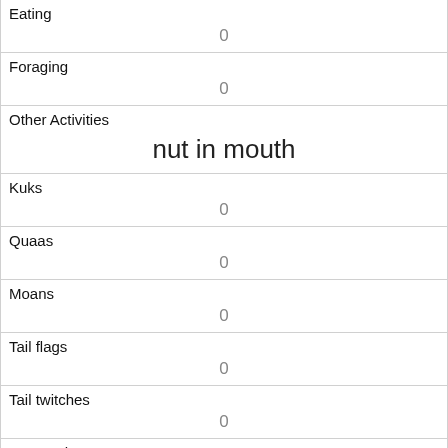| Eating | 0 |
| Foraging | 0 |
| Other Activities | nut in mouth |
| Kuks | 0 |
| Quaas | 0 |
| Moans | 0 |
| Tail flags | 0 |
| Tail twitches | 0 |
| Approaches | 0 |
| Indifferent | 1 |
| Runs from |  |